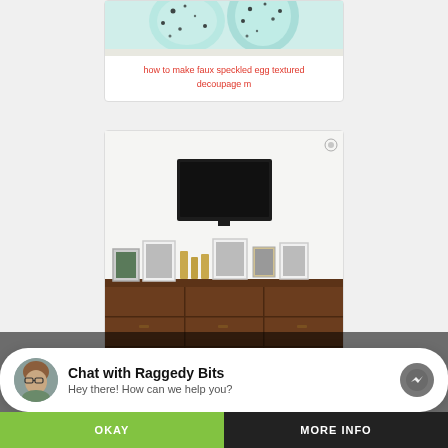[Figure (photo): Partial view of faux speckled egg mugs with mint/teal color and black speckles]
how to make faux speckled egg textured decoupage m
[Figure (photo): A wall-mounted TV above a dark wood sideboard/console table decorated with framed photos and gold candles]
How to Hide TV Wires in the Wall - The Modern Nest
Chat with Raggedy Bits
Hey there! How can we help you?
OKAY    MORE INFO